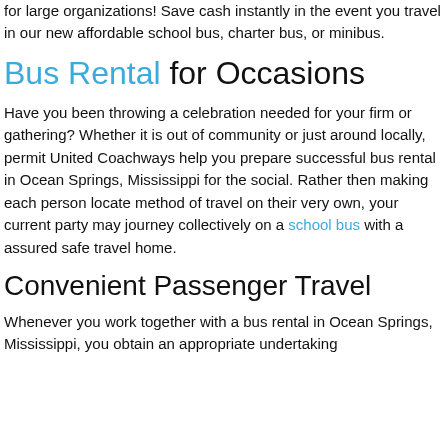for large organizations! Save cash instantly in the event you travel in our new affordable school bus, charter bus, or minibus.
Bus Rental for Occasions
Have you been throwing a celebration needed for your firm or gathering? Whether it is out of community or just around locally, permit United Coachways help you prepare successful bus rental in Ocean Springs, Mississippi for the social. Rather then making each person locate method of travel on their very own, your current party may journey collectively on a school bus with a assured safe travel home.
Convenient Passenger Travel
Whenever you work together with a bus rental in Ocean Springs, Mississippi, you obtain an appropriate undertaking